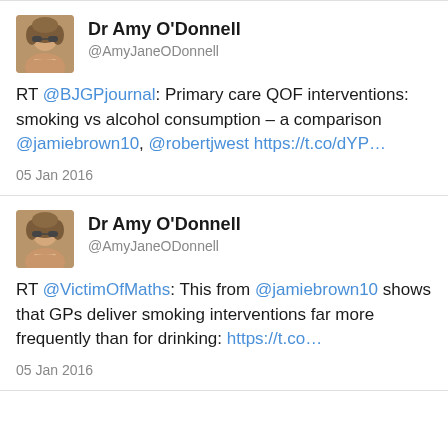[Figure (photo): Profile photo of Dr Amy O'Donnell - woman with curly hair and sunglasses]
Dr Amy O'Donnell
@AmyJaneODonnell
RT @BJGPjournal: Primary care QOF interventions: smoking vs alcohol consumption – a comparison @jamiebrown10, @robertjwest https://t.co/dYP...
05 Jan 2016
[Figure (photo): Profile photo of Dr Amy O'Donnell - woman with curly hair and sunglasses]
Dr Amy O'Donnell
@AmyJaneODonnell
RT @VictimOfMaths: This from @jamiebrown10 shows that GPs deliver smoking interventions far more frequently than for drinking: https://t.co...
05 Jan 2016